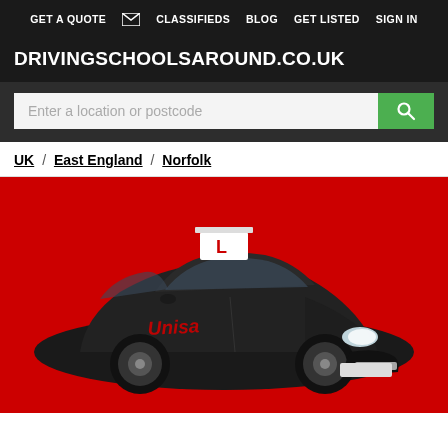GET A QUOTE  CLASSIFIEDS  BLOG  GET LISTED  SIGN IN
DRIVINGSCHOOLSAROUND.CO.UK
Enter a location or postcode
UK / East England / Norfolk
[Figure (photo): A black Toyota driving school car branded with 'Unisa' lettering and an L-plate on the roof, photographed against a red background]